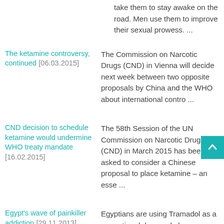take them to stay awake on the road. Men use them to improve their sexual prowess. ...
The ketamine controversy, continued [06.03.2015]
The Commission on Narcotic Drugs (CND) in Vienna will decide next week between two opposite proposals by China and the WHO about international contro ...
CND decision to schedule ketamine would undermine WHO treaty mandate [16.02.2015]
The 58th Session of the UN Commission on Narcotic Drugs (CND) in March 2015 has been asked to consider a Chinese proposal to place ketamine – an esse ...
Egypt's wave of painkiller addiction [29.11.2013]
Egyptians are using Tramadol as a recreational drug and also, reportedly, as an aphrodisiac.